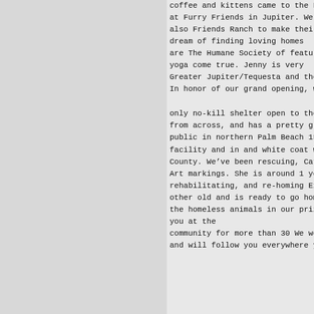coffee and kittens came to the Furry
at Furry Friends in Jupiter. We snacks while
also Friends Ranch to make their
dream of finding loving homes
are The Humane Society of features event spa
yoga come true. Jenny is very
Greater Jupiter/Tequesta and the classes. f
In honor of our grand opening, we hosted an

only no-kill shelter open to the open to all
from across, and has a pretty grey
public in northern Palm Beach 15 finalists h
facility and in and white coat with beautifu
County. We've been rescuing, Catopia. Winner
Art markings. She is around 1 year
rehabilitating, and re-homing Experience 201
other old and is ready to go home!
the homeless animals in our prizes. Meagan,
you at the
community for more than 30 We would like to
and will follow you everywhere you go. Inst